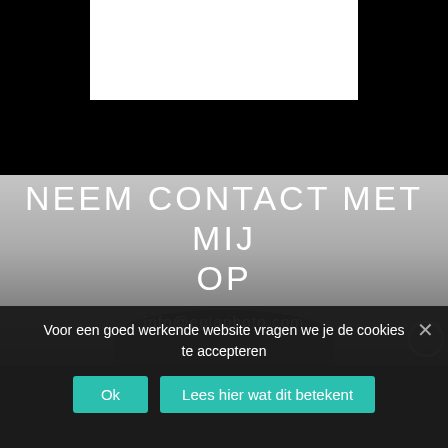[Figure (screenshot): Black navigation bar with white rectangular cutout in center top]
[Figure (photo): Black and white photo background with light gray sky/mist and dark silhouette at bottom]
NEEM CONTACT MET MIJ OP
info@eglaphoto.com
Voor een goed werkende website vragen we je de cookies te accepteren
Ok
Lees hier wat dit betekent